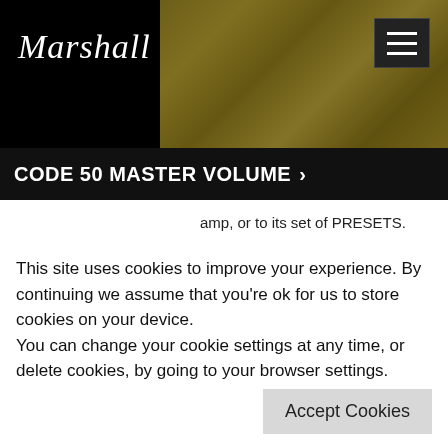[Figure (screenshot): Marshall website header with logo on black left panel and sepia-toned guitar photo on right, hamburger menu button top-right]
CODE 50 MASTER VOLUME >
amp, or to its set of PRESETS.
Hope this helps. Cheers!
answered 20 Feb 2018 at 07:15 PM
Dave Duncan (57)
This site uses cookies to improve your experience. By continuing we assume that you're ok for us to store cookies on your device.
You can change your cookie settings at any time, or delete cookies, by going to your browser settings.
Accept Cookies